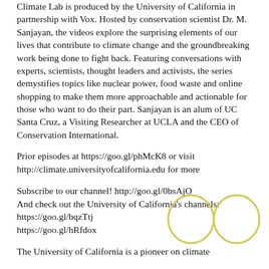Climate Lab is produced by the University of California in partnership with Vox. Hosted by conservation scientist Dr. M. Sanjayan, the videos explore the surprising elements of our lives that contribute to climate change and the groundbreaking work being done to fight back. Featuring conversations with experts, scientists, thought leaders and activists, the series demystifies topics like nuclear power, food waste and online shopping to make them more approachable and actionable for those who want to do their part. Sanjayan is an alum of UC Santa Cruz, a Visiting Researcher at UCLA and the CEO of Conservation International.
Prior episodes at https://goo.gl/phMcK8 or visit http://climate.universityofcalifornia.edu for more
Subscribe to our channel! http://goo.gl/0bsAjO
And check out the University of California's channels:
https://goo.gl/bqzTtj
https://goo.gl/hRfdox
[Figure (illustration): Two yellow outlined circles (ovals) side by side, decorative]
The University of California is a pioneer on climate